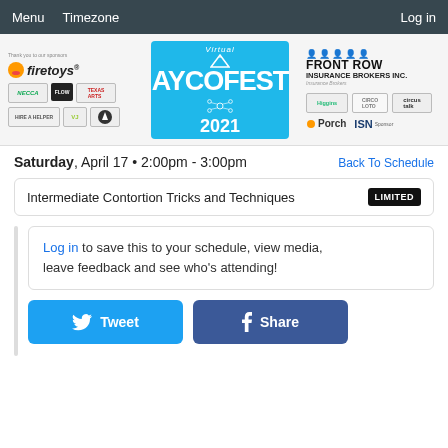Menu  Timezone  Log in
[Figure (logo): Virtual AYCOFEST 2021 banner with sponsor logos including Firetoys, NECCA, Front Row Insurance Brokers Inc., Higgins, Circus Loo, Circus Talk, Porch, ISN, Hire a Helper, VJ, and other logos]
Saturday, April 17 • 2:00pm - 3:00pm
Back To Schedule
Intermediate Contortion Tricks and Techniques  LIMITED
Log in to save this to your schedule, view media, leave feedback and see who's attending!
Tweet  Share